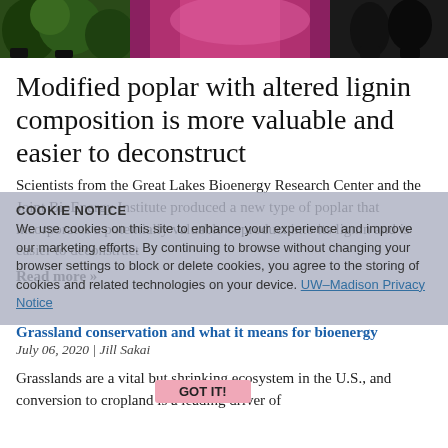[Figure (photo): Banner photo of plants (poplar seedlings in pots) with pink/magenta lighting in a greenhouse or grow room setting]
Modified poplar with altered lignin composition is more valuable and easier to deconstruct
Scientists from the Great Lakes Bioenergy Research Center and the Joint BioEnergy Institute produced a new type of poplar that incorporates a potentially valuable coproduct into its lignin and is easier to deconstruct
Read more »
COOKIE NOTICE
We use cookies on this site to enhance your experience and improve our marketing efforts. By continuing to browse without changing your browser settings to block or delete cookies, you agree to the storing of cookies and related technologies on your device. UW–Madison Privacy Notice
GOT IT!
Grassland conservation and what it means for bioenergy
July 06, 2020 | Jill Sakai
Grasslands are a vital but shrinking ecosystem in the U.S., and conversion to cropland is a leading driver of